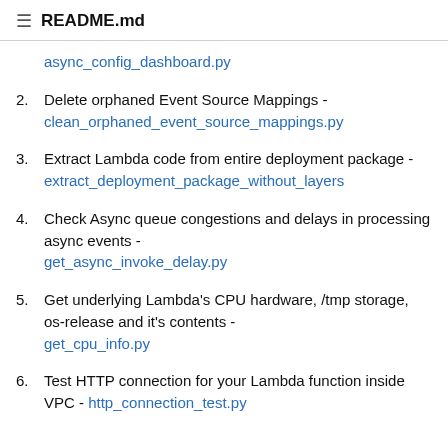README.md
async_config_dashboard.py (link, partial item 1 continuation)
2. Delete orphaned Event Source Mappings - clean_orphaned_event_source_mappings.py
3. Extract Lambda code from entire deployment package - extract_deployment_package_without_layers
4. Check Async queue congestions and delays in processing async events - get_async_invoke_delay.py
5. Get underlying Lambda's CPU hardware, /tmp storage, os-release and it's contents - get_cpu_info.py
6. Test HTTP connection for your Lambda function inside VPC - http_connection_test.py